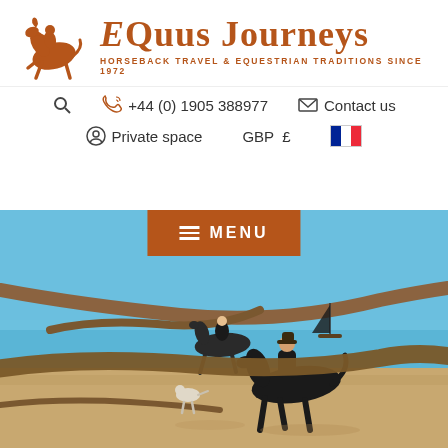[Figure (logo): EQuus Journeys logo with stylized horse rider illustration in orange-brown, brand name in serif font, tagline: HORSEBACK TRAVEL & EQUESTRIAN TRADITIONS SINCE 1972]
+44 (0) 1905 388977
Contact us
Private space
GBP £
[Figure (illustration): French flag icon]
MENU
[Figure (photo): Two riders on dark horses on a sandy beach with driftwood in foreground, calm turquoise sea and sailboat in background, clear blue sky]